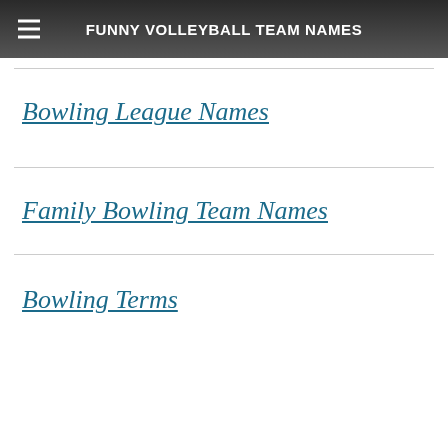FUNNY VOLLEYBALL TEAM NAMES
Bowling League Names
Family Bowling Team Names
Bowling Terms